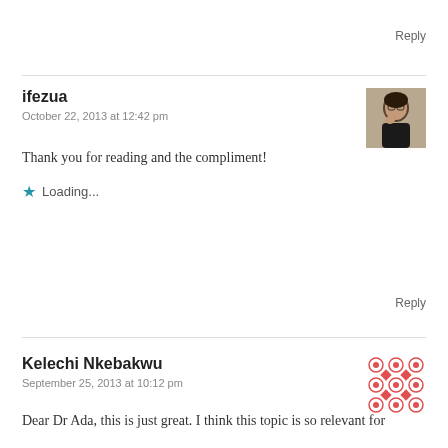Reply
ifezua
October 22, 2013 at 12:42 pm
[Figure (photo): Avatar photo of ifezua, a woman seated, dark hair, wearing glasses]
Thank you for reading and the compliment!
★ Loading...
Reply
Kelechi Nkebakwu
September 25, 2013 at 10:12 pm
[Figure (illustration): Red geometric pattern avatar/icon with repeating circular and diamond shapes on white background]
Dear Dr Ada, this is just great. I think this topic is so relevant for